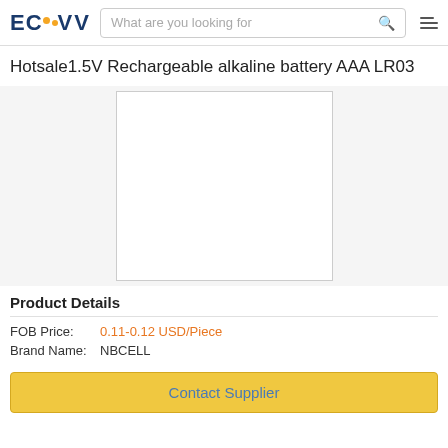ECVV | What are you looking for
Hotsale1.5V Rechargeable alkaline battery AAA LR03
[Figure (photo): Product image placeholder box for battery product]
Product Details
FOB Price: 0.11-0.12 USD/Piece
Brand Name: NBCELL
Contact Supplier